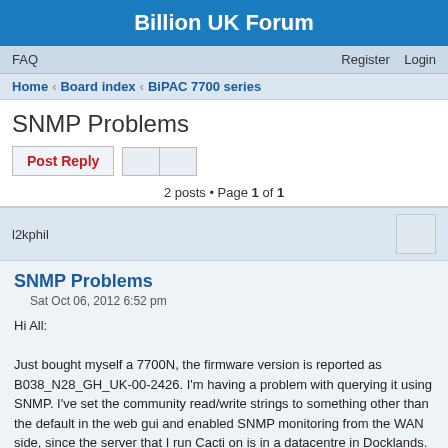Billion UK Forum
FAQ    Register    Login
Home › Board index › BiPAC 7700 series
SNMP Problems
Post Reply
2 posts • Page 1 of 1
l2kphil
SNMP Problems
Sat Oct 06, 2012 6:52 pm
Hi All:

Just bought myself a 7700N, the firmware version is reported as B038_N28_GH_UK-00-2426. I'm having a problem with querying it using SNMP. I've set the community read/write strings to something other than the default in the web gui and enabled SNMP monitoring from the WAN side, since the server that I run Cacti on is in a datacentre in Docklands.